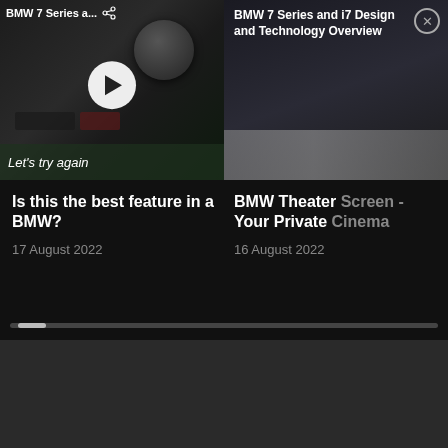[Figure (screenshot): BMW 7 Series video thumbnail with play button overlay and 'Let's try again' bar at bottom. Top label: 'BMW 7 Series a...' with share icon.]
[Figure (screenshot): BMW 7 Series and i7 Design and Technology Overview video thumbnail with close button (X). Title overlaid on dark thumbnail.]
Is this the best feature in a BMW?
17 August 2022
BMW Theater Screen - Your Private Cinema
16 August 2022
SECTIONS
About
Contact
Advertise
Terms of Use
Sign Up Newsletter
Privacy Policy